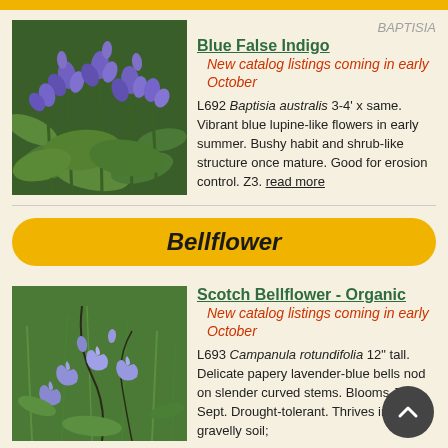[Figure (photo): Top golden/yellow bar stripe]
[Figure (photo): Close-up photo of Blue False Indigo (Baptisia australis) with vibrant purple-blue lupine-like flowers and green foliage]
BAPTISIA
Blue False Indigo
New catalog listings coming in early October
L692 Baptisia australis 3-4' x same. Vibrant blue lupine-like flowers in early summer. Bushy habit and shrub-like structure once mature. Good for erosion control. Z3. read more
Bellflower
[Figure (photo): Close-up photo of Scotch Bellflower (Campanula rotundifolia) with delicate lavender-blue bell-shaped flowers on slender curved stems]
Scotch Bellflower - Organic
New catalog listings coming in early October
L693 Campanula rotundifolia 12" tall. Delicate papery lavender-blue bells nod on slender curved stems. Blooms June-Sept. Drought-tolerant. Thrives in dry gravelly soil;